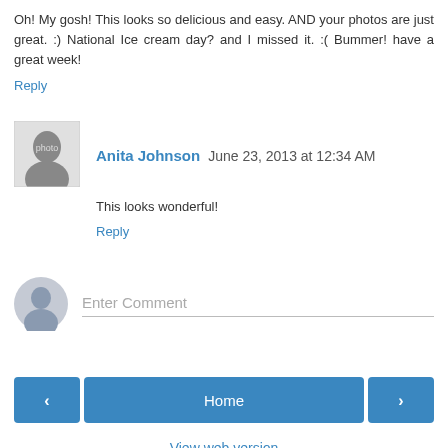Oh! My gosh! This looks so delicious and easy. AND your photos are just great. :) National Ice cream day? and I missed it. :( Bummer! have a great week!
Reply
[Figure (photo): Small grayscale avatar photo of Anita Johnson]
Anita Johnson June 23, 2013 at 12:34 AM
This looks wonderful!
Reply
[Figure (illustration): Anonymous user avatar icon (gray silhouette)]
Enter Comment
< Home >
View web version
Powered by Blogger.